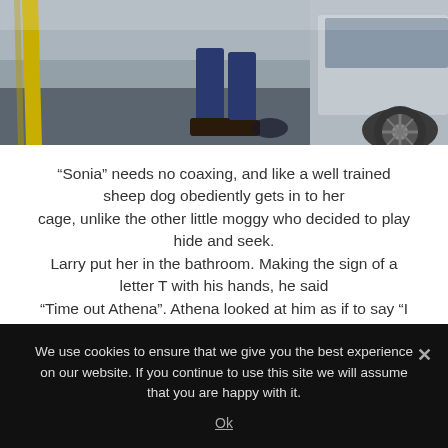[Figure (photo): Photograph of a person's legs and feet standing next to a car in a parking lot. Yellow parking line visible on the left, asphalt ground, car wheel visible on the right.]
“Sonia” needs no coaxing, and like a well trained sheep dog obediently gets in to her cage, unlike the other little moggy who decided to play hide and seek. Larry put her in the bathroom. Making the sign of a letter T with his hands, he said “Time out Athena”. Athena looked at him as if to say “I
We use cookies to ensure that we give you the best experience on our website. If you continue to use this site we will assume that you are happy with it.
Ok